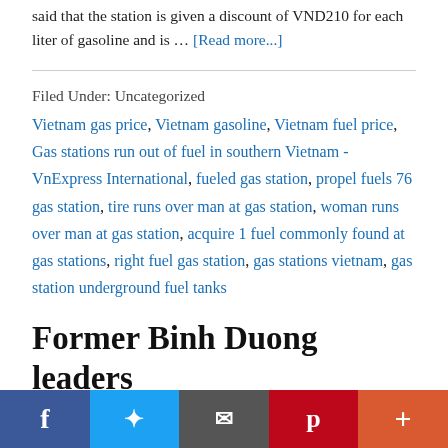said that the station is given a discount of VND210 for each liter of gasoline and is … [Read more...]
Filed Under: Uncategorized
Vietnam gas price, Vietnam gasoline, Vietnam fuel price, Gas stations run out of fuel in southern Vietnam - VnExpress International, fueled gas station, propel fuels 76 gas station, tire runs over man at gas station, woman runs over man at gas station, acquire 1 fuel commonly found at gas stations, right fuel gas station, gas stations vietnam, gas station underground fuel tanks
Former Binh Duong leaders